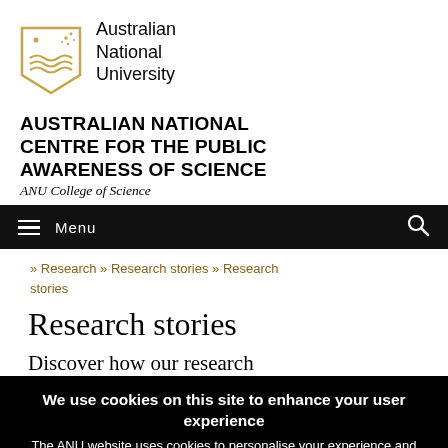[Figure (logo): Australian National University shield logo with gold/yellow colours and wavy lines]
Australian National University
AUSTRALIAN NATIONAL CENTRE FOR THE PUBLIC AWARENESS OF SCIENCE
ANU College of Science
Menu
» Research » Research stories » Research stories
Research stories
Discover how our research
We use cookies on this site to enhance your user experience
The ANU website uses cookies to personalise your experience and analyse